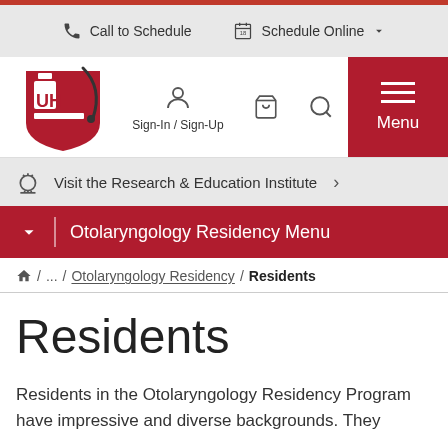Call to Schedule   Schedule Online
[Figure (logo): University Hospitals UH logo in red with stylized letters and arc]
Sign-In / Sign-Up
Menu
Visit the Research & Education Institute
Otolaryngology Residency Menu
/ ... / Otolaryngology Residency / Residents
Residents
Residents in the Otolaryngology Residency Program have impressive and diverse backgrounds. They